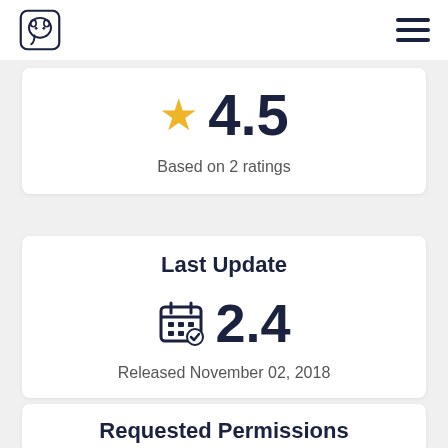★ 4.5
Based on 2 ratings
Last Update
📅 2.4
Released November 02, 2018
Requested Permissions